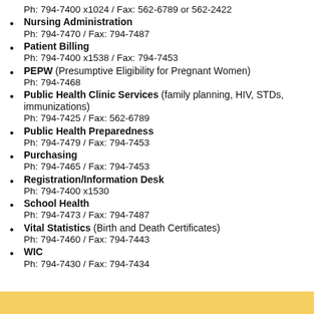Ph: 794-7400 x1024  / Fax: 562-6789 or 562-2422
Nursing Administration
Ph: 794-7470 / Fax: 794-7487
Patient Billing
Ph: 794-7400 x1538 / Fax: 794-7453
PEPW (Presumptive Eligibility for Pregnant Women)
Ph: 794-7468
Public Health Clinic Services (family planning, HIV, STDs, immunizations)
Ph: 794-7425 / Fax: 562-6789
Public Health Preparedness
Ph: 794-7479 / Fax: 794-7453
Purchasing
Ph: 794-7465 / Fax: 794-7453
Registration/Information Desk
Ph: 794-7400 x1530
School Health
Ph: 794-7473 / Fax: 794-7487
Vital Statistics (Birth and Death Certificates)
Ph: 794-7460 / Fax: 794-7443
WIC
Ph: 794-7430 / Fax: 794-7434